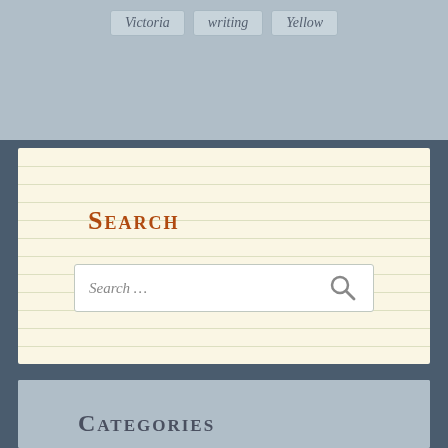Victoria
writing
Yellow
Search
Search …
Categories
100 Strangers (2)